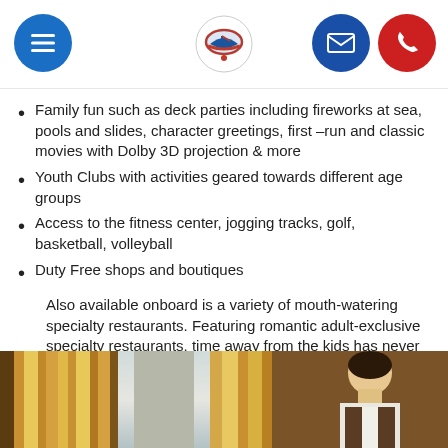Navigation header with menu, logo, email, and phone buttons
Family fun such as deck parties including fireworks at sea, pools and slides, character greetings, first –run and classic movies with Dolby 3D projection & more
Youth Clubs with activities geared towards different age groups
Access to the fitness center, jogging tracks, golf, basketball, volleyball
Duty Free shops and boutiques
Also available onboard is a variety of mouth-watering specialty restaurants. Featuring romantic adult-exclusive specialty restaurants, time away from the kids has never been so serene. Take time to rejuvenate and indulge at the Spa. User fees apply.
[Figure (photo): Photo of a person (likely a crew member or waiter) with golden striped curtains in the background, partially visible at the bottom of the page]